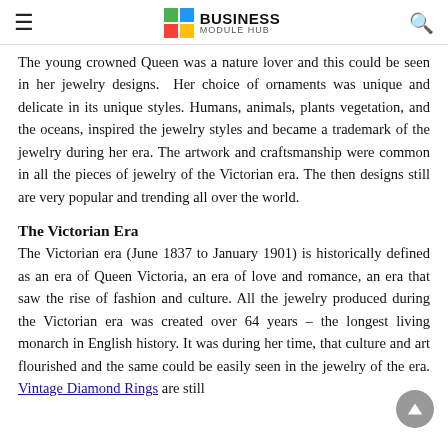Business Module Hub
The young crowned Queen was a nature lover and this could be seen in her jewelry designs. Her choice of ornaments was unique and delicate in its unique styles. Humans, animals, plants vegetation, and the oceans, inspired the jewelry styles and became a trademark of the jewelry during her era. The artwork and craftsmanship were common in all the pieces of jewelry of the Victorian era. The then designs still are very popular and trending all over the world.
The Victorian Era
The Victorian era (June 1837 to January 1901) is historically defined as an era of Queen Victoria, an era of love and romance, an era that saw the rise of fashion and culture. All the jewelry produced during the Victorian era was created over 64 years – the longest living monarch in English history. It was during her time, that culture and art flourished and the same could be easily seen in the jewelry of the era. Vintage Diamond Rings are still